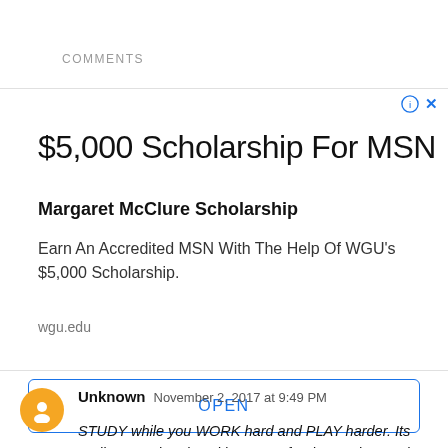COMMENTS
[Figure (other): Advertisement banner for WGU $5,000 MSN scholarship. Title: $5,000 Scholarship For MSN. Subtitle: Margaret McClure Scholarship. Body: Earn An Accredited MSN With The Help Of WGU's $5,000 Scholarship. URL: wgu.edu. Button: OPEN]
Unknown  November 2, 2017 at 9:49 PM
STUDY while you WORK hard and PLAY harder. Its really a good and positive quote for the readers and they will use it maximum. I hope this hare